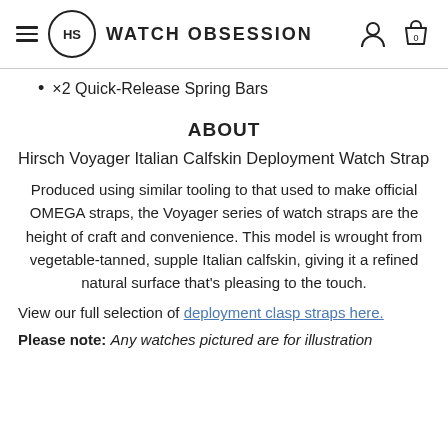HS WATCH OBSESSION
×2 Quick-Release Spring Bars
ABOUT
Hirsch Voyager Italian Calfskin Deployment Watch Strap
Produced using similar tooling to that used to make official OMEGA straps, the Voyager series of watch straps are the height of craft and convenience. This model is wrought from vegetable-tanned, supple Italian calfskin, giving it a refined natural surface that's pleasing to the touch.
View our full selection of deployment clasp straps here.
Please note: Any watches pictured are for illustration